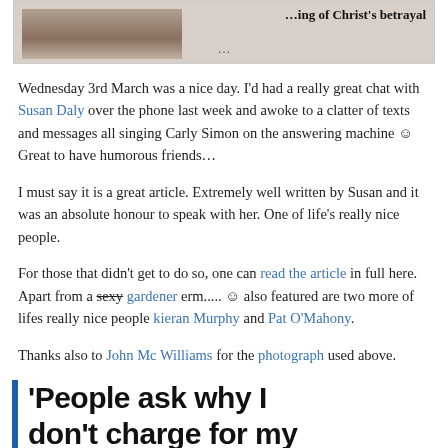[Figure (photo): Partial image showing a scene, with text overlay reading '...ing of Christ's betrayal'. An ellipsis '...' appears below the image.]
Wednesday 3rd March was a nice day. I'd had a really great chat with Susan Daly over the phone last week and awoke to a clatter of texts and messages all singing Carly Simon on the answering machine ☺ Great to have humorous friends…
I must say it is a great article. Extremely well written by Susan and it was an absolute honour to speak with her. One of life's really nice people.
For those that didn't get to do so, one can read the article in full here. Apart from a sexy gardener erm..... ☺ also featured are two more of lifes really nice people kieran Murphy and Pat O'Mahony.
Thanks also to John Mc Williams for the photograph used above.
'People ask why I don't charge for my